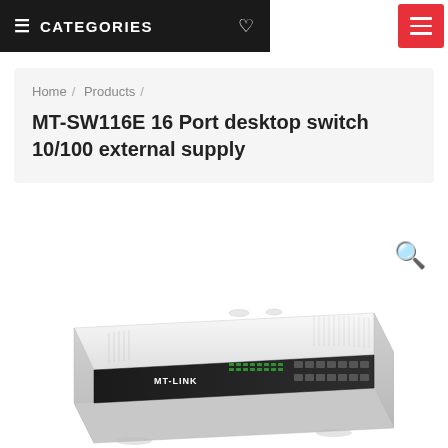≡ CATEGORIES ♡
Home / Products /
MT-SW116E 16 Port desktop switch 10/100 external supply
[Figure (photo): White MT-Link 16-port 10/100 desktop network switch viewed from a slight angle, showing the front panel with ports and LED indicators on a dark front face, and the white plastic top casing with ventilation slits.]